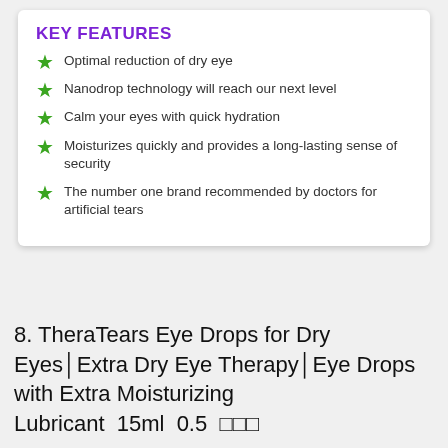KEY FEATURES
Optimal reduction of dry eye
Nanodrop technology will reach our next level
Calm your eyes with quick hydration
Moisturizes quickly and provides a long-lasting sense of security
The number one brand recommended by doctors for artificial tears
8. TheraTears Eye Drops for Dry Eyes│Extra Dry Eye Therapy│Eye Drops with Extra Moisturizing Lubricant  15ml  0.5  □□□